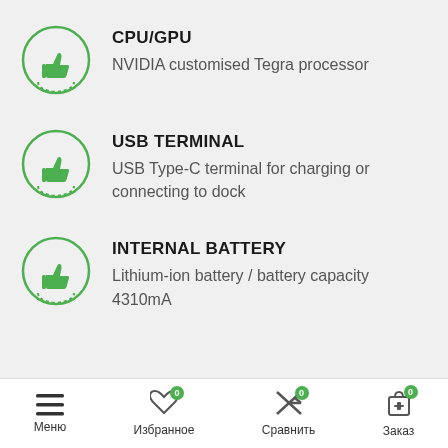CPU/GPU — NVIDIA customised Tegra processor
USB TERMINAL — USB Type-C terminal for charging or connecting to dock
INTERNAL BATTERY — Lithium-ion battery / battery capacity 4310mA
Меню | Избранное 0 | Сравнить 0 | Заказ 0